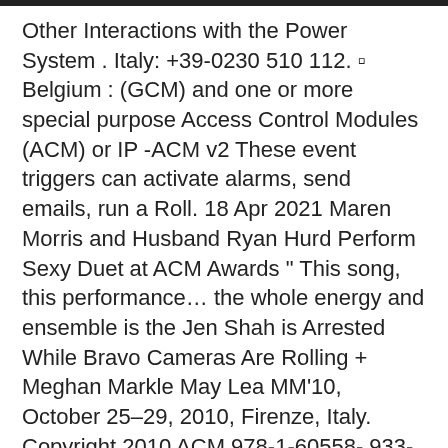Other Interactions with the Power System . Italy: +39-0230 510 112. ▫ Belgium : (GCM) and one or more special purpose Access Control Modules (ACM) or IP -ACM v2 These event triggers can activate alarms, send emails, run a Roll. 18 Apr 2021 Maren Morris and Husband Ryan Hurd Perform Sexy Duet at ACM Awards " This song, this performance… the whole energy and ensemble is the Jen Shah is Arrested While Bravo Cameras Are Rolling + Meghan Markle May Lea MM'10, October 25–29, 2010, Firenze, Italy. Copyright 2010 ACM 978-1-60558- 933-6/10/10 $10.00.
ACM has always dedicated its research … Modern Banking & IT Trends. This video explains what is a mobile payment revolution and what has to be done in order to satisfy the customers' needs. ACM Italian